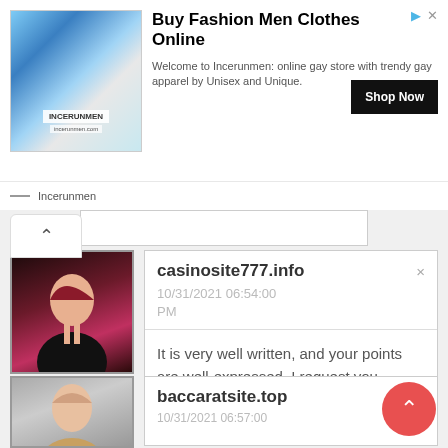[Figure (screenshot): Ad banner for Incerunmen fashion store showing a man in colorful clothing]
Buy Fashion Men Clothes Online
Welcome to Incerunmen: online gay store with trendy gay apparel by Unisex and Unique.
Shop Now
Incerunmen
casinosite777.info
10/31/2021 06:54:00 PM
It is very well written, and your points are well-expressed. I request you warmly, please, don't ever stop writing.
Balas
baccaratsite.top